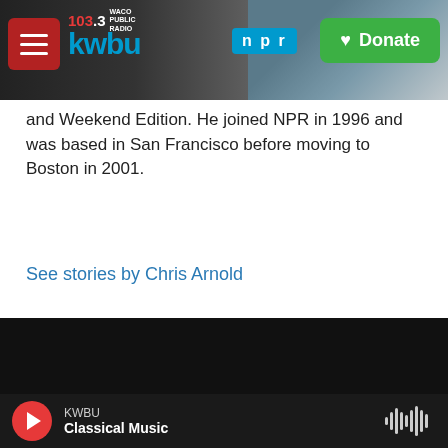103.3 KWBU WACO PUBLIC RADIO | NPR | Donate
and Weekend Edition. He joined NPR in 1996 and was based in San Francisco before moving to Boston in 2001.
See stories by Chris Arnold
© 2022 KWBU
Contact Us
103.3 KWBU FM, 2100 River Street, Waco, TX 76706
KWBU Classical Music